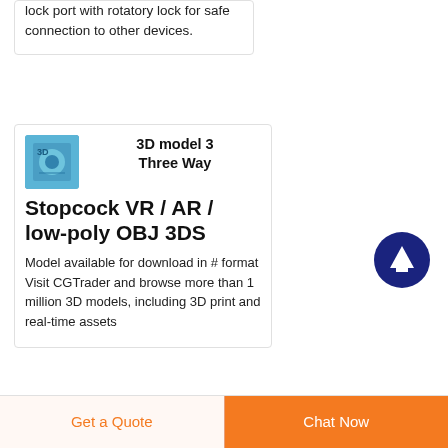lock port with rotatory lock for safe connection to other devices.
[Figure (illustration): Thumbnail image of a 3D model stopcock, blue/teal colored icon]
3D model 3 Three Way Stopcock VR / AR / low-poly OBJ 3DS
Model available for download in # format Visit CGTrader and browse more than 1 million 3D models, including 3D print and real-time assets
[Figure (illustration): Dark blue circular back-to-top button with white upward arrow icon]
Get a Quote
Chat Now